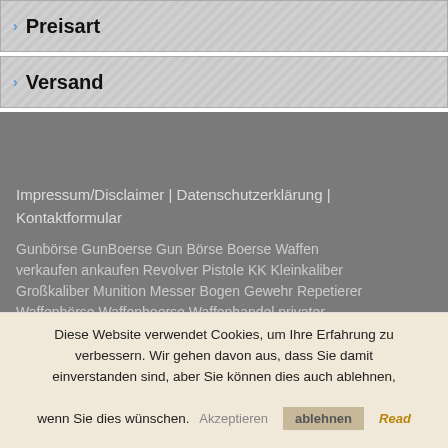Preisart
Versand
Impressum/Disclaimer | Datenschutzerklärung | Kontaktformular
Gunbörse GunBoerse Gun Börse Boerse Waffen verkaufen ankaufen Revolver Pistole KK Kleinkaliber Großkaliber Munition Messer Bogen Gewehr Repetierer Waffenbörse Waffenboerse Waffenhandel privater Waffenhandel Schusson Schiene Schuss Schutz...
Diese Website verwendet Cookies, um Ihre Erfahrung zu verbessern. Wir gehen davon aus, dass Sie damit einverstanden sind, aber Sie können dies auch ablehnen, wenn Sie dies wünschen.
Akzeptieren   ablehnen   Read